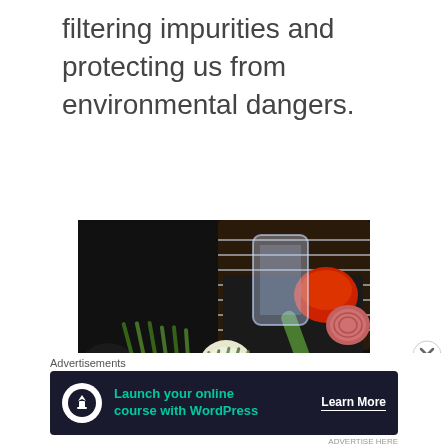filtering impurities and protecting us from environmental dangers.
[Figure (photo): Photo of assorted fresh vegetables including bunches of asparagus, spring onions, chard/beets, dill, a glass jar, red bell pepper, cucumber, and red onion on a dark kitchen surface/grill rack.]
Advertisements
Launch your online course with WordPress
Learn More